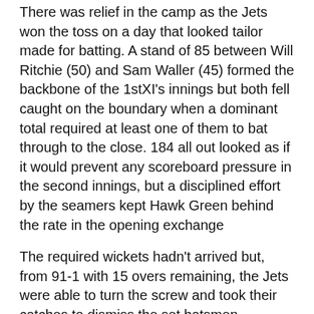There was relief in the camp as the Jets won the toss on a day that looked tailor made for batting. A stand of 85 between Will Ritchie (50) and Sam Waller (45) formed the backbone of the 1stXI's innings but both fell caught on the boundary when a dominant total required at least one of them to bat through to the close. 184 all out looked as if it would prevent any scoreboard pressure in the second innings, but a disciplined effort by the seamers kept Hawk Green behind the rate in the opening exchange
The required wickets hadn't arrived but, from 91-1 with 15 overs remaining, the Jets were able to turn the screw and took their catches to dismiss the set batsmen Hampson and Littler. From there the two spinners twirled away and watched an increasingly frantic batting lineup offer up chances which were gleefully accepted as seven wickets fell for 30 runs. The result was an end to the game nobody could have foreseen at lunch as Hawk Green's final pair blocked out the remaining overs.
1stXI Hawk Green...